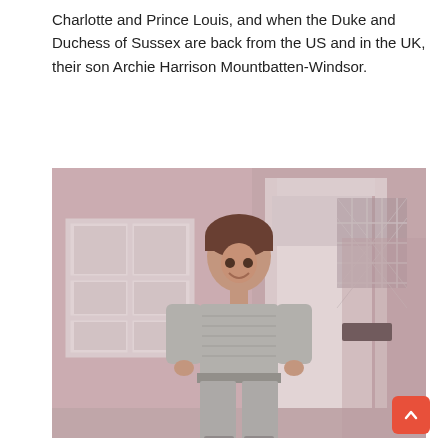Charlotte and Prince Louis, and when the Duke and Duchess of Sussex are back from the US and in the UK, their son Archie Harrison Mountbatten-Windsor.
[Figure (photo): A vintage sepia-toned photograph of a young boy with brown hair, smiling, standing in front of a white doorway of a house. He is wearing a ribbed long-sleeve top and matching trousers. To his left is a white-framed window with multiple panes. To his right is a white door with a diamond-patterned leaded glass window and a dark mailbox plaque.]